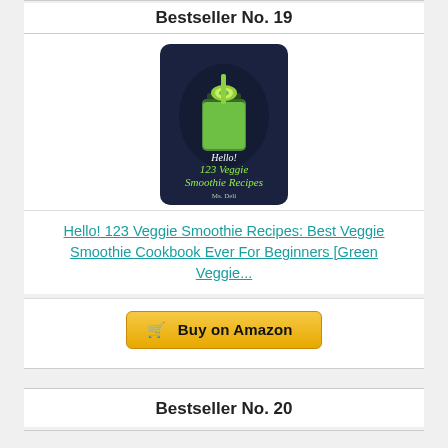Bestseller No. 19
[Figure (photo): Book cover of 'Hello! 123 Veggie Smoothie Recipes' showing a green smoothie mason jar on a dark navy background with green cursive text]
Hello! 123 Veggie Smoothie Recipes: Best Veggie Smoothie Cookbook Ever For Beginners [Green Veggie...
Buy on Amazon
Bestseller No. 20